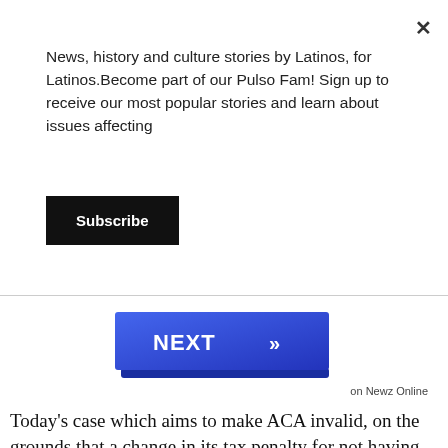×
News, history and culture stories by Latinos, for Latinos.Become part of our Pulso Fam! Sign up to receive our most popular stories and learn about issues affecting
Subscribe
[Figure (other): Blue 'NEXT >>' navigation button with 3D shadow effect]
on Newz Online
Today's case which aims to make ACA invalid, on the grounds that a change in its tax penalty for not having health coverage is unconstitutional